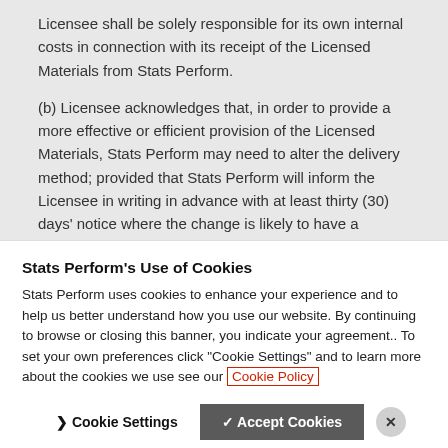Licensee shall be solely responsible for its own internal costs in connection with its receipt of the Licensed Materials from Stats Perform.
(b) Licensee acknowledges that, in order to provide a more effective or efficient provision of the Licensed Materials, Stats Perform may need to alter the delivery method; provided that Stats Perform will inform the Licensee in writing in advance with at least thirty (30) days' notice where the change is likely to have a material
Stats Perform's Use of Cookies
Stats Perform uses cookies to enhance your experience and to help us better understand how you use our website. By continuing to browse or closing this banner, you indicate your agreement.. To set your own preferences click "Cookie Settings" and to learn more about the cookies we use see our Cookie Policy
Cookie Settings
✓ Accept Cookies
✕